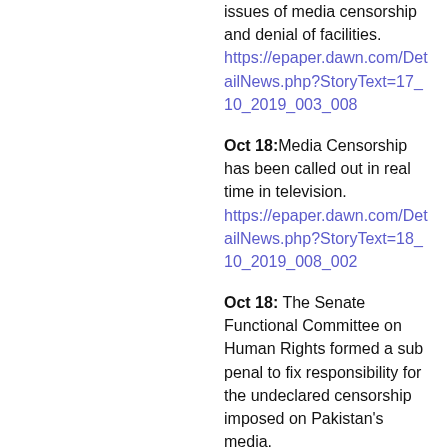issues of media censorship and denial of facilities. https://epaper.dawn.com/DetailNews.php?StoryText=17_10_2019_003_008
Oct 18: Media Censorship has been called out in real time in television. https://epaper.dawn.com/DetailNews.php?StoryText=18_10_2019_008_002
Oct 18: The Senate Functional Committee on Human Rights formed a sub penal to fix responsibility for the undeclared censorship imposed on Pakistan's media. https://tribune.com.pk/story/2082419/1-senate-moves-fix-responsibility-undeclared-media-censorship-pakistan/
Oct 23: Sindh Information Minister Saeed Ghani slams the federal government for "unannounced restrictions" on the media. https://epaper.dawn.com/DetailNews.php?